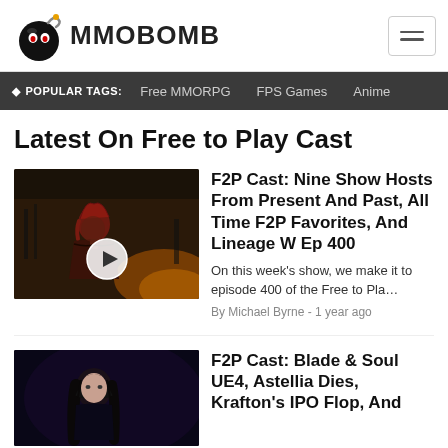MMOBOMB - hamburger menu
POPULAR TAGS: Free MMORPG  FPS Games  Anime
Latest On Free to Play Cast
[Figure (screenshot): Thumbnail image of a video game character (red-haired person in dark setting) with a play button overlay]
F2P Cast: Nine Show Hosts From Present And Past, All Time F2P Favorites, And Lineage W Ep 400
On this week's show, we make it to episode 400 of the Free to Pla...
By Michael Byrne - 1 year ago
[Figure (screenshot): Thumbnail image showing a dark-haired character, partial view]
F2P Cast: Blade & Soul UE4, Astellia Dies, Krafton's IPO Flop, And